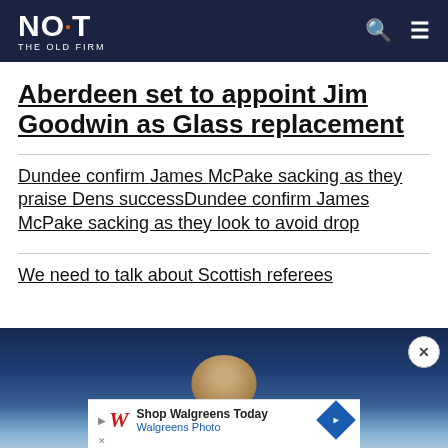NOT THE OLD FIRM
Aberdeen set to appoint Jim Goodwin as Glass replacement
Dundee confirm James McPake sacking as they praise Dens successDundee confirm James McPake sacking as they look to avoid drop
We need to talk about Scottish referees
[Figure (photo): Partial view of a person's head against a dark blue background with a Walgreens advertisement overlay at the bottom]